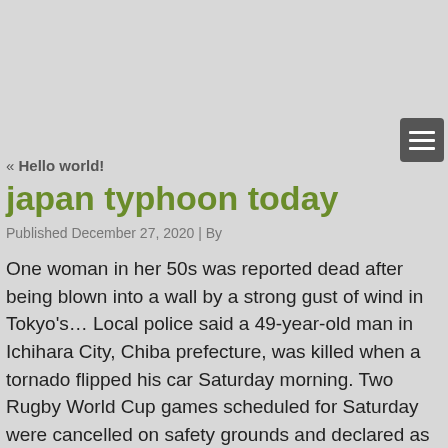[Figure (other): Dark gray hamburger menu button with three white horizontal lines, positioned top-right]
« Hello world!
japan typhoon today
Published December 27, 2020 | By
One woman in her 50s was reported dead after being blown into a wall by a strong gust of wind in Tokyo's… Local police said a 49-year-old man in Ichihara City, Chiba prefecture, was killed when a tornado flipped his car Saturday morning. Two Rugby World Cup games scheduled for Saturday were cancelled on safety grounds and declared as draws - England-France and New Zealand-Italy. The cancellations were the first in the tournament's 32-year history. Typhoon Hagibis triggered floods and landslides as it battered the country with wind speeds of 225km/h (140mph). The Japan